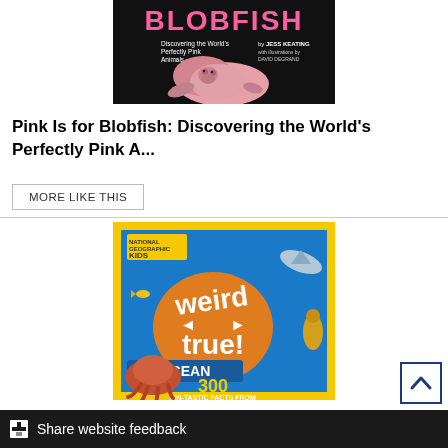[Figure (photo): Book cover of 'Pink Is for Blobfish: Discovering the World's Perfectly Pink Animals' by Jess Keating, showing a pink blobfish on a dark background with pink title text]
Pink Is for Blobfish: Discovering the World's Perfectly Pink A...
MORE LIKE THIS
[Figure (photo): Book cover of National Geographic Kids 'Weird But True! Ocean: 300 Fin-Tastic Facts From' showing ocean animals including a shark, octopus, and seahorse on a blue and yellow background]
Share website feedback